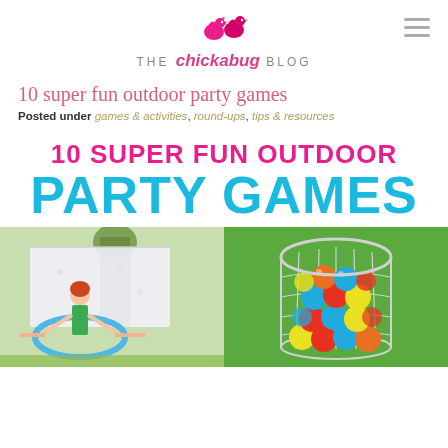THE chickabug BLOG
10 super fun outdoor party games
Posted under games & activities, round-ups, tips & resources
[Figure (photo): Featured image with text overlay reading '10 SUPER FUN OUTDOOR PARTY GAMES' in pink and blue bold text, followed by two photos: left shows children playing with a hula hoop and a sheet outdoors, right shows a wire basket filled with colorful plastic balls on grass.]